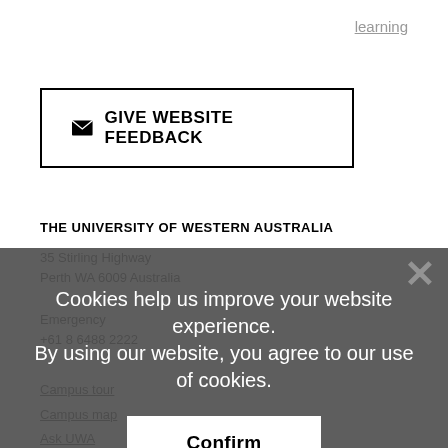learning
✉ GIVE WEBSITE FEEDBACK
THE UNIVERSITY OF WESTERN AUSTRALIA
35 Stirling Highway
Perth WA 6009 Australia
Emergency
+61 8 6488 2222
Campus tour
Campus map
Ask UWA
Privacy
Cookies help us improve your website experience.
By using our website, you agree to our use of cookies.
Confirm